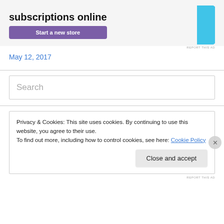[Figure (other): Advertisement banner with text 'subscriptions online', a purple 'Start a new store' button, and a light blue graphic shape on the right, on a light gray background]
REPORT THIS AD
May 12, 2017
Search
Privacy & Cookies: This site uses cookies. By continuing to use this website, you agree to their use.
To find out more, including how to control cookies, see here: Cookie Policy
Close and accept